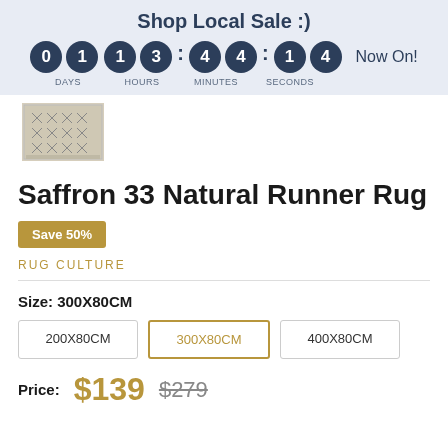Shop Local Sale :)  01 13 : 44 : 14  Now On!
[Figure (photo): Small thumbnail image of a patterned runner rug with geometric diamond designs in neutral tones]
Saffron 33 Natural Runner Rug
Save 50%
RUG CULTURE
Size: 300X80CM
200X80CM
300X80CM
400X80CM
Price: $139  $279